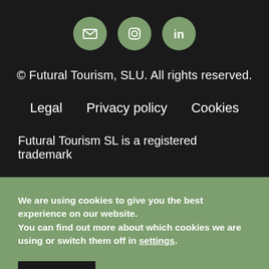[Figure (illustration): Three social media icon circles (email, Instagram, LinkedIn) on dark background]
© Futural Tourism, SLU. All rights reserved.
Legal   Privacy policy   Cookies
Futural Tourism SL is a registered trademark
We are using cookies to give you the best experience on our website.
You can find out more about which cookies we are using or switch them off in settings.
Accept